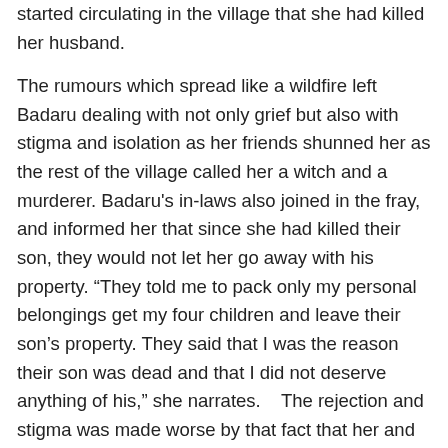started circulating in the village that she had killed her husband.
The rumours which spread like a wildfire left Badaru dealing with not only grief but also with stigma and isolation as her friends shunned her as the rest of the village called her a witch and a murderer. Badaru's in-laws also joined in the fray, and informed her that since she had killed their son, they would not let her go away with his property. “They told me to pack only my personal belongings get my four children and leave their son’s property. They said that I was the reason their son was dead and that I did not deserve anything of his,” she narrates.    The rejection and stigma was made worse by that fact that her and her children had nowhere else to go